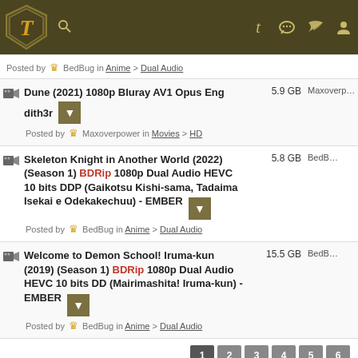Kickass Torrents – navigation bar with logo, search, and icons
| Torrent | Size | User |
| --- | --- | --- |
| Dune (2021) 1080p Bluray AV1 Opus Eng dith3r | Posted by Maxoverpower in Movies > HD | 5.9 GB | Maxoverpower |
| Skeleton Knight in Another World (2022) (Season 1) BDRip 1080p Dual Audio HEVC 10 bits DDP (Gaikotsu Kishi-sama, Tadaima Isekai e Odekakechuu) - EMBER | Posted by BedBug in Anime > Dual Audio | 5.8 GB | BedBug |
| Welcome to Demon School! Iruma-kun (2019) (Season 1) BDRip 1080p Dual Audio HEVC 10 bits DD (Mairimashita! Iruma-kun) - EMBER | Posted by BedBug in Anime > Dual Audio | 15.5 GB | BedBug |
dmca | Kickass Torrents